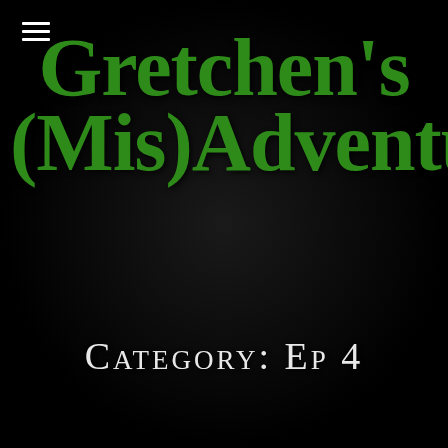[Figure (logo): Menu hamburger icon — three white horizontal lines in top-left corner]
Gretchen's (Mis)Adventures
Category: Ep 4